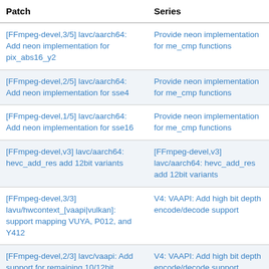| Patch | Series |
| --- | --- |
| [FFmpeg-devel,3/5] lavc/aarch64: Add neon implementation for pix_abs16_y2 | Provide neon implementation for me_cmp functions |
| [FFmpeg-devel,2/5] lavc/aarch64: Add neon implementation for sse4 | Provide neon implementation for me_cmp functions |
| [FFmpeg-devel,1/5] lavc/aarch64: Add neon implementation for sse16 | Provide neon implementation for me_cmp functions |
| [FFmpeg-devel,v3] lavc/aarch64: hevc_add_res add 12bit variants | [FFmpeg-devel,v3] lavc/aarch64: hevc_add_res add 12bit variants |
| [FFmpeg-devel,3/3] lavu/hwcontext_[vaapi|vulkan]: support mapping VUYA, P012, and Y412 | V4: VAAPI: Add high bit depth encode/decode support |
| [FFmpeg-devel,2/3] lavc/vaapi: Add support for remaining 10/12bit profiles | V4: VAAPI: Add high bit depth encode/decode support |
| [FFmpeg-devel,1/3] lavu/pixfmt: Add P012, Y212, Y410, and Y412 formats | V4: VAAPI: Add high bit depth encode/decode support |